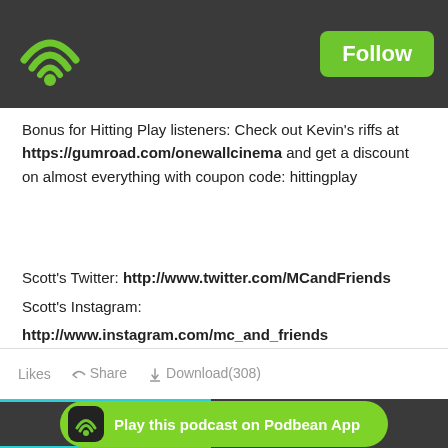Podbean header with Follow button
Bonus for Hitting Play listeners: Check out Kevin's riffs at https://gumroad.com/onewallcinema and get a discount on almost everything with coupon code: hittingplay
Scott's Twitter: http://www.twitter.com/MCandFriends
Scott's Instagram: http://www.instagram.com/mc_and_friends
Likes  Share  Download(308)
5 SEP  Diana
Play this podcast on Podbean App